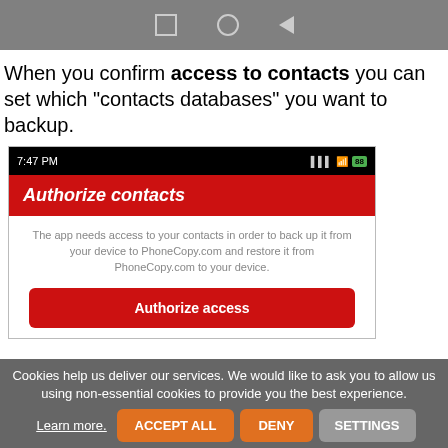[Figure (screenshot): Android phone navigation bar with square, circle, and back arrow buttons on grey background]
When you confirm access to contacts you can set which "contacts databases" you want to backup.
[Figure (screenshot): Android app screenshot showing status bar with 7:47 PM, signal and wifi icons, red header bar with 'Authorize contacts' text, grey body text about app needing access to contacts, and red 'Authorize access' button]
Cookies help us deliver our services. We would like to ask you to allow us using non-essential cookies to provide you the best experience.
Learn more.
ACCEPT ALL
DENY
SETTINGS